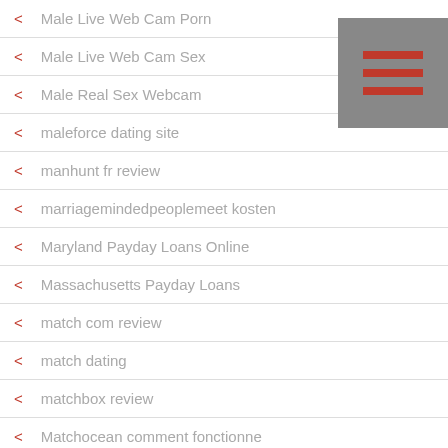Male Live Web Cam Porn
Male Live Web Cam Sex
Male Real Sex Webcam
maleforce dating site
manhunt fr review
marriagemindedpeoplemeet kosten
Maryland Payday Loans Online
Massachusetts Payday Loans
match com review
match dating
matchbox review
Matchocean comment fonctionne
Mature Dating review